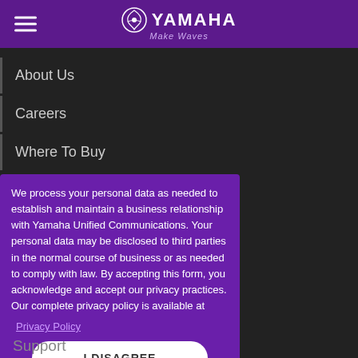YAMAHA Make Waves
About Us
Careers
Where To Buy
We process your personal data as needed to establish and maintain a business relationship with Yamaha Unified Communications. Your personal data may be disclosed to third parties in the normal course of business or as needed to comply with law. By accepting this form, you acknowledge and accept our privacy practices. Our complete privacy policy is available at Privacy Policy
I DISAGREE
I AGREE
Support